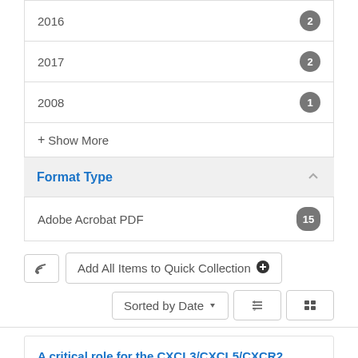2016  2
2017  2
2008  1
+ Show More
Format Type
Adobe Acrobat PDF  15
Add All Items to Quick Collection
Sorted by Date
A critical role for the CXCL3/CXCL5/CXCR2 neutrophilic chemotactic axis in the regulation of type 2 responses in a model of rhinoviral